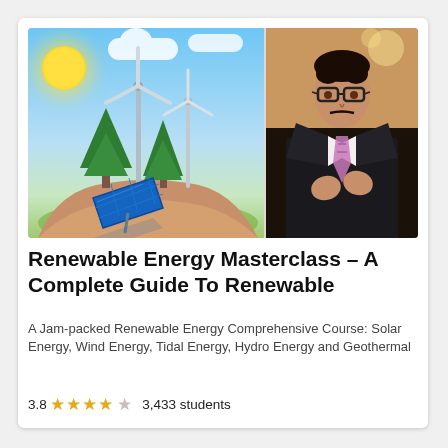[Figure (photo): Course thumbnail image: left half shows renewable energy illustration with sun, wind turbines, solar panel, trees, and hands holding the scene against a blue sky; right half shows a young man in a dark suit and patterned tie.]
Renewable Energy Masterclass – A Complete Guide To Renewable
A Jam-packed Renewable Energy Comprehensive Course: Solar Energy, Wind Energy, Tidal Energy, Hydro Energy and Geothermal
3.8 ★★★★☆ 3,433 students